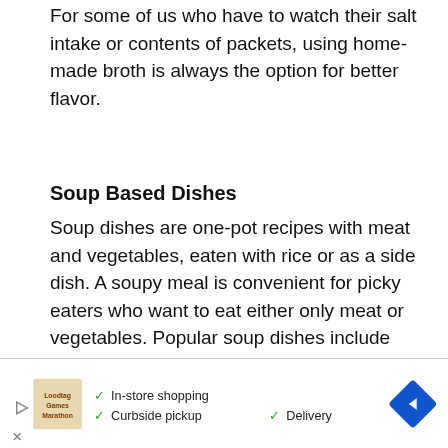For some of us who have to watch their salt intake or contents of packets, using home-made broth is always the option for better flavor.
Soup Based Dishes
Soup dishes are one-pot recipes with meat and vegetables, eaten with rice or as a side dish. A soupy meal is convenient for picky eaters who want to eat either only meat or vegetables. Popular soup dishes include sinigang, nilaga and tinola.
[Figure (other): Ashley Furniture advertisement featuring dark wood herringbone background with Ashley logo (triangle outline) and Tempur-Pedic co-branding text. A play button icon is visible in the top right corner.]
[Figure (other): Bottom advertisement banner showing a store logo image on left, checkmarks next to 'In-store shopping', 'Curbside pickup', and 'Delivery' text, and a blue diamond navigation icon on the right. A play button and X button are also visible.]